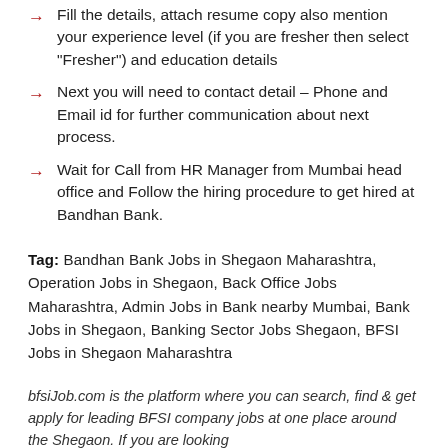Fill the details, attach resume copy also mention your experience level (if you are fresher then select “Fresher”) and education details
Next you will need to contact detail – Phone and Email id for further communication about next process.
Wait for Call from HR Manager from Mumbai head office and Follow the hiring procedure to get hired at Bandhan Bank.
Tag: Bandhan Bank Jobs in Shegaon Maharashtra, Operation Jobs in Shegaon, Back Office Jobs Maharashtra, Admin Jobs in Bank nearby Mumbai, Bank Jobs in Shegaon, Banking Sector Jobs Shegaon, BFSI Jobs in Shegaon Maharashtra
bfsiJob.com is the platform where you can search, find & get apply for leading BFSI company jobs at one place around the Shegaon. If you are looking